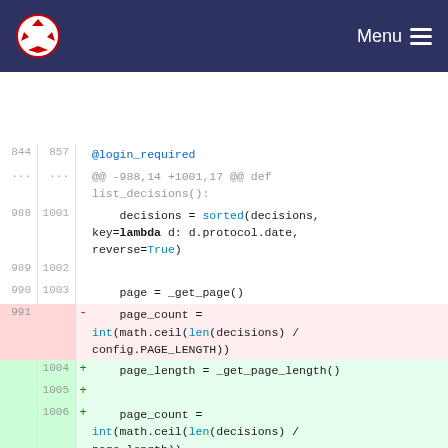Menu
[Figure (screenshot): Code diff view showing changes to a Python file with line numbers, removed lines (red background) and added lines (green background). Shows changes around list_decisions() function, replacing config.PAGE_LENGTH with _get_page_length() call.]